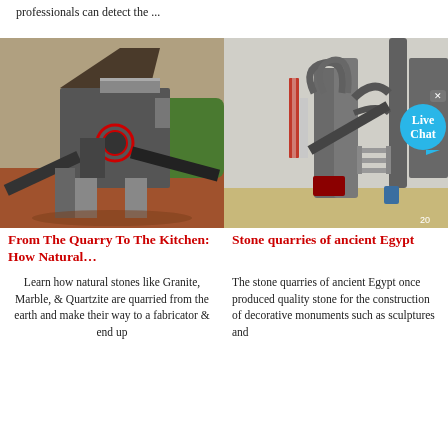professionals can detect the ...
[Figure (photo): Industrial quarry crushing/processing machine with conveyor belts, red circular component visible, red clay soil in foreground, green trees in background]
[Figure (photo): Industrial stone processing plant with large grey silos, pipes, conveyor belts and machinery; 'Live Chat' bubble overlay visible in top right corner]
From The Quarry To The Kitchen: How Natural…
Stone quarries of ancient Egypt
Learn how natural stones like Granite, Marble, & Quartzite are quarried from the earth and make their way to a fabricator & end up
The stone quarries of ancient Egypt once produced quality stone for the construction of decorative monuments such as sculptures and